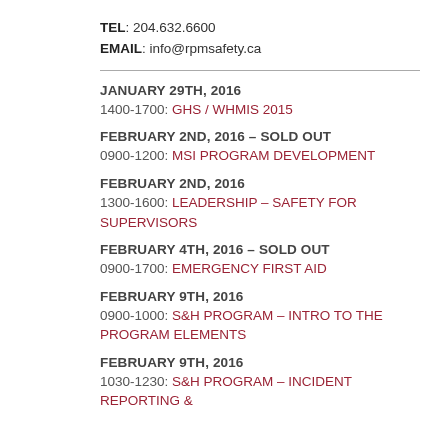TEL: 204.632.6600
EMAIL: info@rpmsafety.ca
JANUARY 29TH, 2016
1400-1700: GHS / WHMIS 2015
FEBRUARY 2ND, 2016 – SOLD OUT
0900-1200: MSI PROGRAM DEVELOPMENT
FEBRUARY 2ND, 2016
1300-1600: LEADERSHIP – SAFETY FOR SUPERVISORS
FEBRUARY 4TH, 2016 – SOLD OUT
0900-1700: EMERGENCY FIRST AID
FEBRUARY 9TH, 2016
0900-1000: S&H PROGRAM – INTRO TO THE PROGRAM ELEMENTS
FEBRUARY 9TH, 2016
1030-1230: S&H PROGRAM – INCIDENT REPORTING &